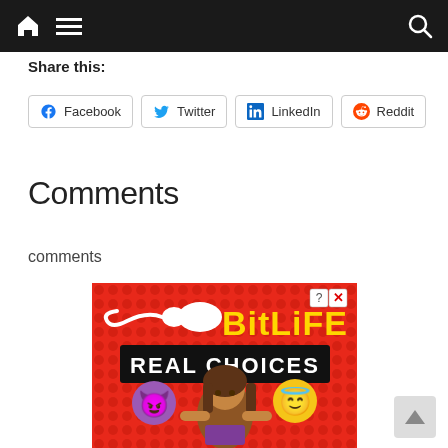Navigation bar with home, menu, and search icons
Share this:
Facebook  Twitter  LinkedIn  Reddit
Comments
comments
[Figure (illustration): BitLife advertisement banner — red polka-dot background with BitLife logo in yellow text, 'REAL CHOICES' in white text on black banner, cartoon girl holding devil emoji and angel emoji]